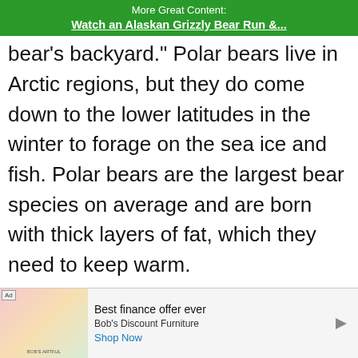More Great Content:
Watch an Alaskan Grizzly Bear Run &...
bear's backyard. Polar bears live in Arctic regions, but they do come down to the lower latitudes in the winter to forage on the sea ice and fish. Polar bears are the largest bear species on average and are born with thick layers of fat, which they need to keep warm.
[Figure (other): Advertisement banner at the bottom of the page. Shows an ad label, a colorful product image placeholder, text 'Best finance offer ever' and 'Bob's Discount Furniture' with a 'Shop Now' link.]